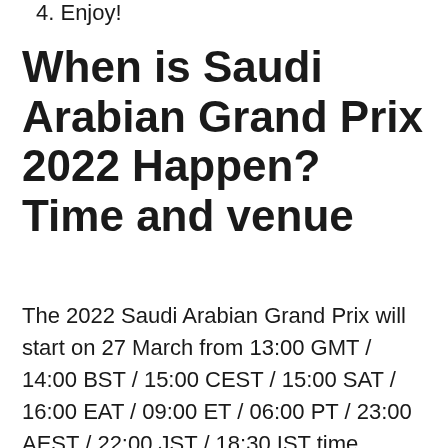4. Enjoy!
When is Saudi Arabian Grand Prix 2022 Happen? Time and venue
The 2022 Saudi Arabian Grand Prix will start on 27 March from 13:00 GMT / 14:00 BST / 15:00 CEST / 15:00 SAT / 16:00 EAT / 09:00 ET / 06:00 PT / 23:00 AEST / 22:00 JST / 18:30 IST time.